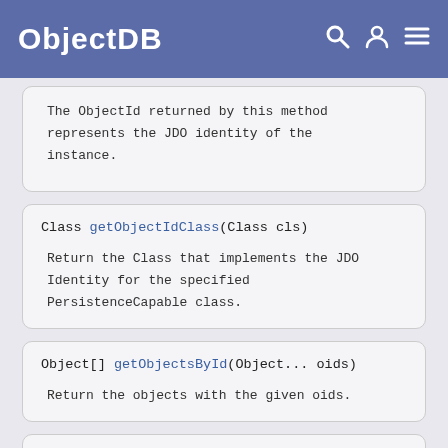ObjectDB
The ObjectId returned by this method represents the JDO identity of the instance.
Class getObjectIdClass(Class cls)

Return the Class that implements the JDO Identity for the specified PersistenceCapable class.
Object[] getObjectsById(Object... oids)

Return the objects with the given oids.